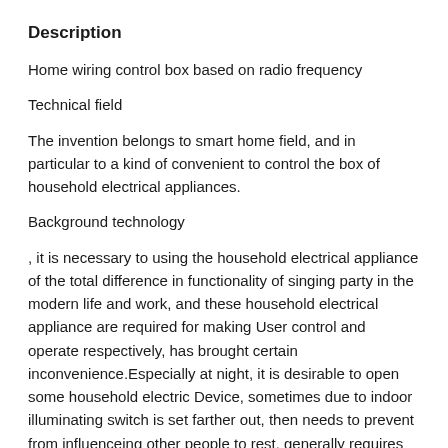Description
Home wiring control box based on radio frequency
Technical field
The invention belongs to smart home field, and in particular to a kind of convenient to control the box of household electrical appliances.
Background technology
, it is necessary to using the household electrical appliance of the total difference in functionality of singing party in the modern life and work, and these household electrical appliance are required for making User control and operate respectively, has brought certain inconvenience.Especially at night, it is desirable to open some household electric Device, sometimes due to indoor illuminating switch is set farther out, then needs to prevent from influenceing other people to rest, generally requires user and exist sometimes Without household electrical appliance are opened in the environment of illumination, while inconvenience, also in the presence of certain potential safety hazard.